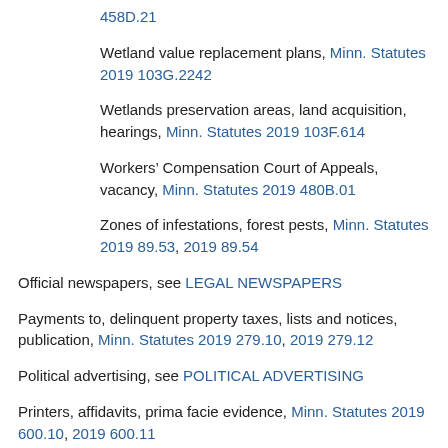458D.21
Wetland value replacement plans, Minn. Statutes 2019 103G.2242
Wetlands preservation areas, land acquisition, hearings, Minn. Statutes 2019 103F.614
Workers’ Compensation Court of Appeals, vacancy, Minn. Statutes 2019 480B.01
Zones of infestations, forest pests, Minn. Statutes 2019 89.53, 2019 89.54
Official newspapers, see LEGAL NEWSPAPERS
Payments to, delinquent property taxes, lists and notices, publication, Minn. Statutes 2019 279.10, 2019 279.12
Political advertising, see POLITICAL ADVERTISING
Printers, affidavits, prima facie evidence, Minn. Statutes 2019 600.10, 2019 600.11